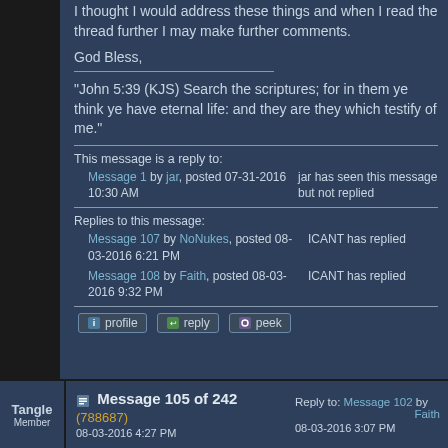I thought I would address these things and when I read the thread further I may make further comments.
God Bless,
"John 5:39 (KJS) Search the scriptures; for in them ye think ye have eternal life: and they are they which testify of me."
This message is a reply to:
Message 1 by jar, posted 07-31-2016 10:30 AM
jar has seen this message but not replied
Replies to this message:
Message 107 by NoNukes, posted 08-03-2016 6:21 PM  ICANT has replied
Message 108 by Faith, posted 08-03-2016 9:32 PM  ICANT has replied
Tangle
Member
Message 105 of 242 (788687)
08-03-2016 4:27 PM
Reply to: Message 102 by Faith
08-03-2016 3:07 PM